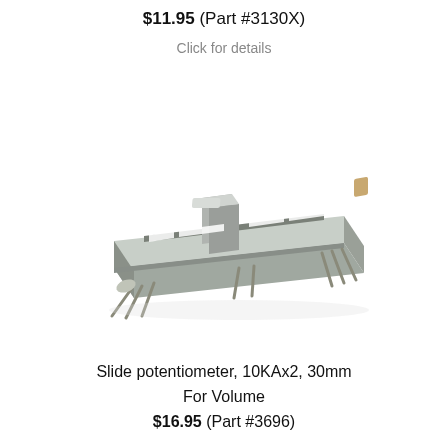$11.95 (Part #3130X)
Click for details
[Figure (photo): Slide potentiometer component, dual-gang, 30mm travel, PCB mount with multiple metal pins, gray metallic housing with white slider knob visible on top, viewed from a slight angle showing the underside pins]
Slide potentiometer, 10KAx2, 30mm
For Volume
$16.95 (Part #3696)